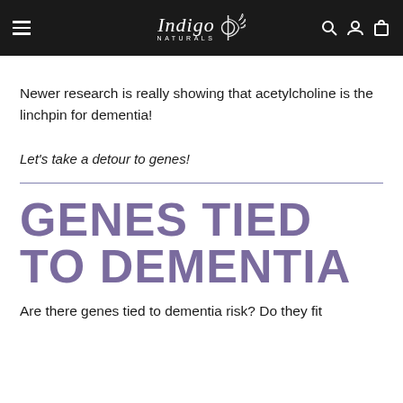Indigo Naturals
Newer research is really showing that acetylcholine is the linchpin for dementia!
Let's take a detour to genes!
GENES TIED TO DEMENTIA
Are there genes tied to dementia risk? Do they fit